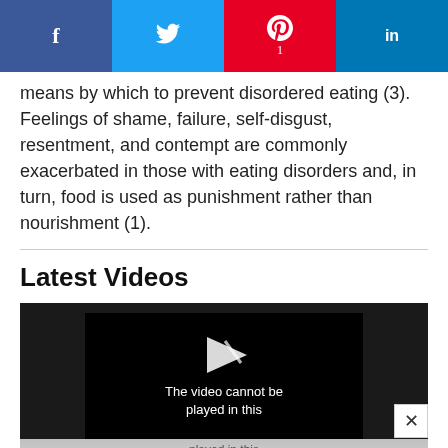f | Twitter | Pinterest 1 | in
means by which to prevent disordered eating (3). Feelings of shame, failure, self-disgust, resentment, and contempt are commonly exacerbated in those with eating disorders and, in turn, food is used as punishment rather than nourishment (1).
Latest Videos
[Figure (screenshot): Video player showing error: 'The video cannot be played in this browser. (Error Code: 242632)']